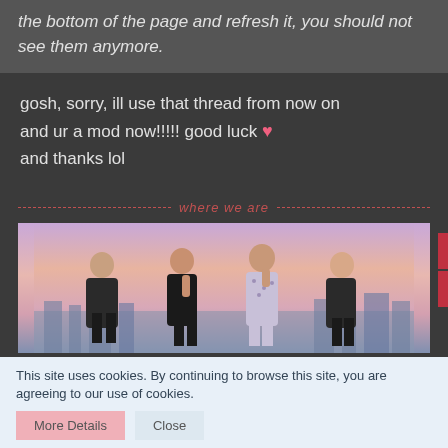the bottom of the page and refresh it, you should not see them anymore.
gosh, sorry, ill use that thread from now on and ur a mod now!!!!! good luck ♥ and thanks lol
[Figure (photo): A divider with text 'where we are' in red italic with dashed lines on both sides, followed by a photo of four women sitting outdoors against a purple-pink sunset sky with a city skyline in the background.]
This site uses cookies. By continuing to browse this site, you are agreeing to our use of cookies.